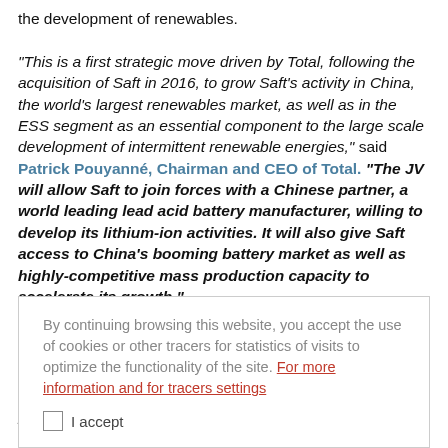the development of renewables. "This is a first strategic move driven by Total, following the acquisition of Saft in 2016, to grow Saft's activity in China, the world's largest renewables market, as well as in the ESS segment as an essential component to the large scale development of intermittent renewable energies," said Patrick Pouyanné, Chairman and CEO of Total. "The JV will allow Saft to join forces with a Chinese partner, a world leading lead acid battery manufacturer, willing to develop its lithium-ion activities. It will also give Saft access to China's booming battery market as well as highly-competitive mass production capacity to accelerate its growth."
By continuing browsing this website, you accept the use of cookies or other tracers for statistics of visits to optimize the functionality of the site. For more information and for tracers settings
I accept
"We are delighted to start building a long-term partnership with Tiannong with a shared industrial vision," said